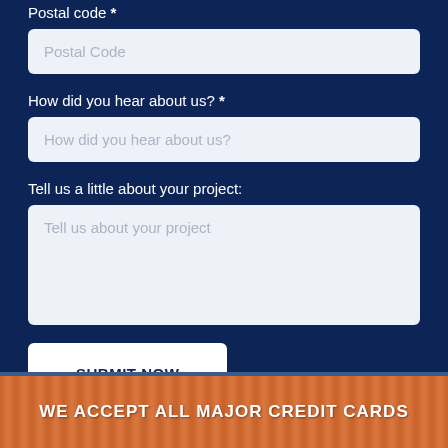Postal code *
Postal Code
How did you hear about us? *
How did you hear about us?
Tell us a little about your project:
Tell us about your project
SUBMIT NOW
WE ACCEPT ALL MAJOR CREDIT CARDS